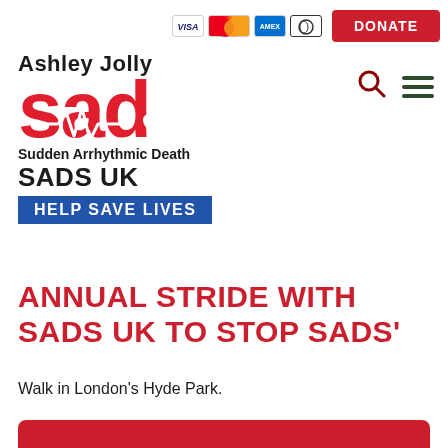[Figure (logo): Payment icons: Visa, Mastercard, American Express, Diners Club]
[Figure (logo): DONATE button in red]
[Figure (logo): Ashley Jolly SAD UK - Sudden Arrhythmic Death SADS UK HELP SAVE LIVES logo with heartbeat design]
[Figure (other): Search icon (magnifying glass) and hamburger menu icon]
ANNUAL STRIDE WITH SADS UK TO STOP SADS'
Walk in London's Hyde Park.
[Figure (other): Red rounded bar at the bottom of the page]